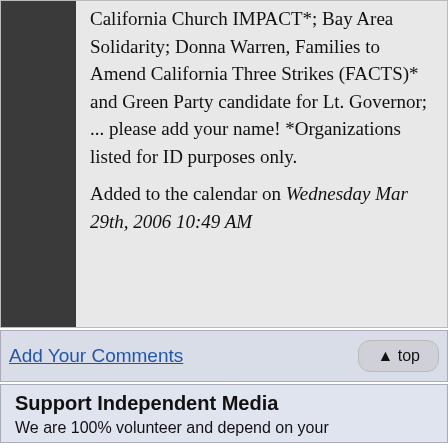California Church IMPACT*; Bay Area Solidarity; Donna Warren, Families to Amend California Three Strikes (FACTS)* and Green Party candidate for Lt. Governor; ... please add your name! *Organizations listed for ID purposes only.
Added to the calendar on Wednesday Mar 29th, 2006 10:49 AM
Add Your Comments
Support Independent Media
We are 100% volunteer and depend on your